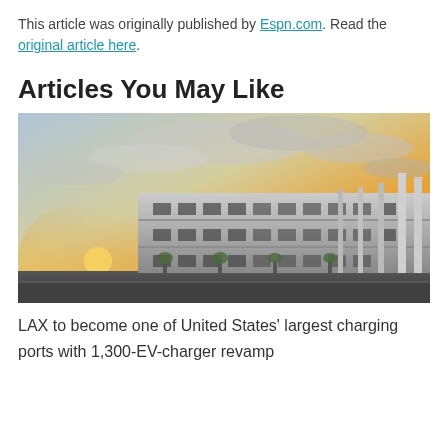This article was originally published by Espn.com. Read the original article here.
Articles You May Like
[Figure (photo): Exterior photograph of a large multi-story parking structure with dramatic sunset sky in the background, partially desaturated architectural style]
LAX to become one of United States' largest charging ports with 1,300-EV-charger revamp